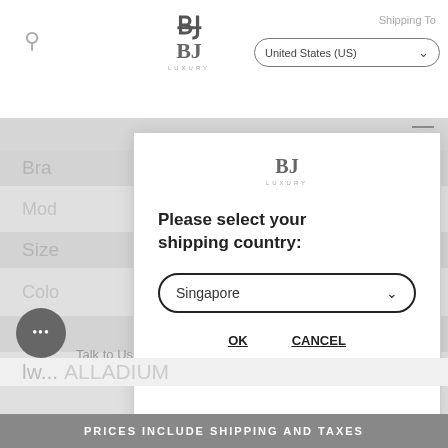[Figure (screenshot): BJ Luxury e-commerce website header with search icon, BJ Luxury logo, Shipping To label, and United States (US) country selector dropdown]
Shipping To
United States (US)
Bra
Mod
Size
Colo
Mat
Please select your shipping country:
Singapore
OK
CANCEL
Talk to Us
...ALLADIUM
PRICES INCLUDE SHIPPING AND TAXES